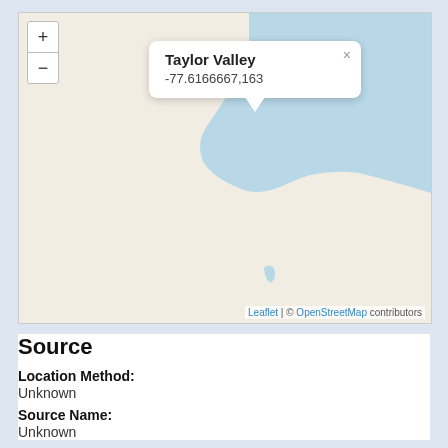[Figure (map): Interactive Leaflet map centered on Taylor Valley, Antarctica. Coordinates -77.6166667, 163. Shows coastline with beige land and light blue ocean/water area in upper right. Zoom controls (+/-) in upper left. A popup tooltip shows 'Taylor Valley' and '-77.6166667,163'. Attribution: Leaflet | © OpenStreetMap contributors.]
Source
Location Method:
Unknown
Source Name:
Unknown